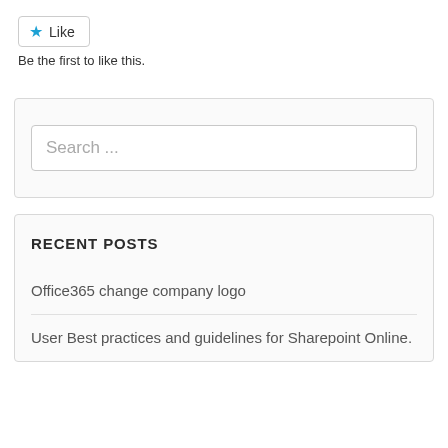[Figure (other): Like button with blue star icon and 'Like' text in a bordered box]
Be the first to like this.
Search ...
RECENT POSTS
Office365 change company logo
User Best practices and guidelines for Sharepoint Online.